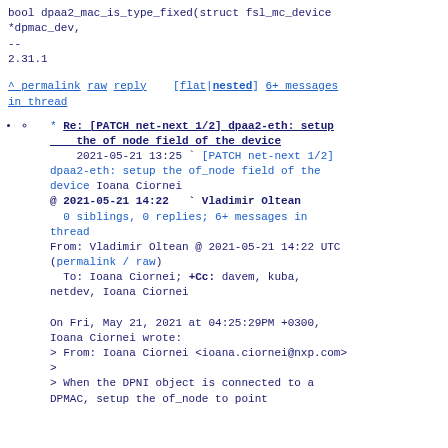bool dpaa2_mac_is_type_fixed(struct fsl_mc_device *dpmac_dev,
--
2.31.1
^ permalink raw reply    [flat|nested] 6+ messages in thread
* Re: [PATCH net-next 1/2] dpaa2-eth: setup the of node field of the device
2021-05-21 13:25 ` [PATCH net-next 1/2] dpaa2-eth: setup the of_node field of the device Ioana Ciornei
@ 2021-05-21 14:22   ` Vladimir Oltean
  0 siblings, 0 replies; 6+ messages in thread
From: Vladimir Oltean @ 2021-05-21 14:22 UTC (permalink / raw)
  To: Ioana Ciornei; +Cc: davem, kuba, netdev, Ioana Ciornei

On Fri, May 21, 2021 at 04:25:29PM +0300, Ioana Ciornei wrote:
> From: Ioana Ciornei <ioana.ciornei@nxp.com>
>
> When the DPNI object is connected to a DPMAC, setup the of_node to point